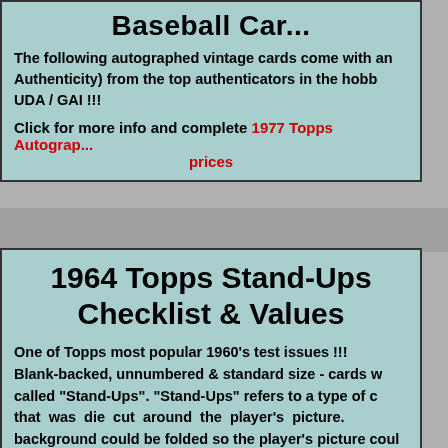Baseball Car...
The following autographed vintage cards come with an Authenticity) from the top authenticators in the hobby UDA / GAI !!!
Click for more info and complete 1977 Topps Autograph prices
1964 Topps Stand-Ups Checklist & Values
One of Topps most popular 1960's test issues !!! Blank-backed, unnumbered & standard size - cards w called "Stand-Ups". "Stand-Ups" refers to a type of c that was die cut around the player's picture. background could be folded so the player's picture coul and the 1951 Topps All-Star sets are 2 other popular sta